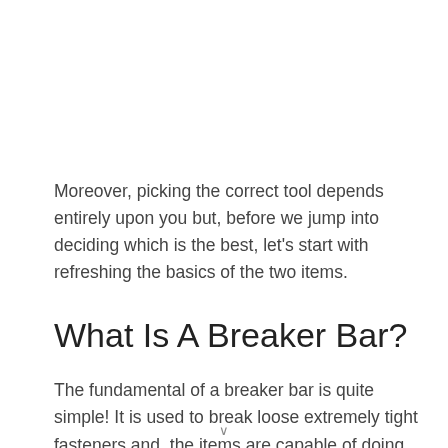Moreover, picking the correct tool depends entirely upon you but, before we jump into deciding which is the best, let's start with refreshing the basics of the two items.
What Is A Breaker Bar?
The fundamental of a breaker bar is quite simple! It is used to break loose extremely tight fasteners and, the items are capable of doing this because of the